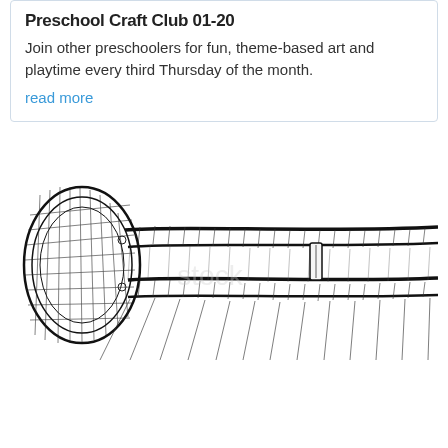Preschool Craft Club 01-20
Join other preschoolers for fun, theme-based art and playtime every third Thursday of the month.
read more
[Figure (illustration): Black and white engraving-style illustration of a trombone, showing the slide and bell of the instrument in detailed cross-hatching style]
[Figure (illustration): Partial black and white engraving-style illustration of another brass instrument (trombone bell section) cropped at bottom of page]